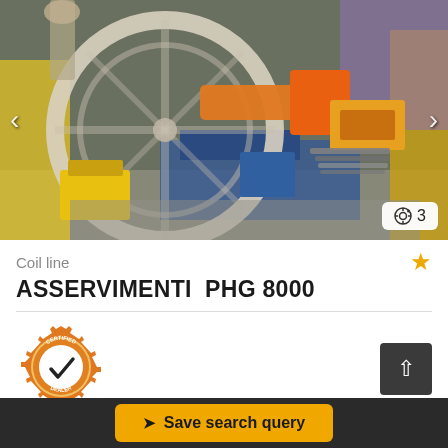[Figure (photo): Industrial coil line machine (ASSERVIMENTI PHG 8000) in a factory/workshop setting. Shows large circular wheel/reel mechanism with orange hydraulic components, blue machinery base, yellow safety barriers, and various metal tools on a table. Navigation arrows and a photo count badge showing 3 are visible.]
Coil line
ASSERVIMENTI  PHG 8000
[Figure (logo): Certified Dealer badge — circular orange gear/cog border with text 'CERTIFIED' at top and 'DEALER' at bottom, black checkmark in center on white circle background.]
€ Price info
Save search query